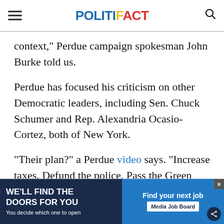POLITIFACT
context," Perdue campaign spokesman John Burke told us.
Perdue has focused his criticism on other Democratic leaders, including Sen. Chuck Schumer and Rep. Alexandria Ocasio-Cortez, both of New York.
"Their plan?" a Perdue video says. "Increase taxes. Defund the police. Pass the Green New Deal. Open the borders. .... Eliminate priva[te health] Court[s]